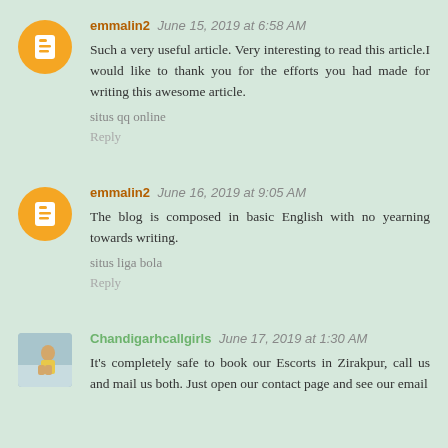emmalin2 June 15, 2019 at 6:58 AM
Such a very useful article. Very interesting to read this article.I would like to thank you for the efforts you had made for writing this awesome article.
situs qq online
Reply
emmalin2 June 16, 2019 at 9:05 AM
The blog is composed in basic English with no yearning towards writing.
situs liga bola
Reply
Chandigarhcallgirls June 17, 2019 at 1:30 AM
It's completely safe to book our Escorts in Zirakpur, call us and mail us both. Just open our contact page and see our email